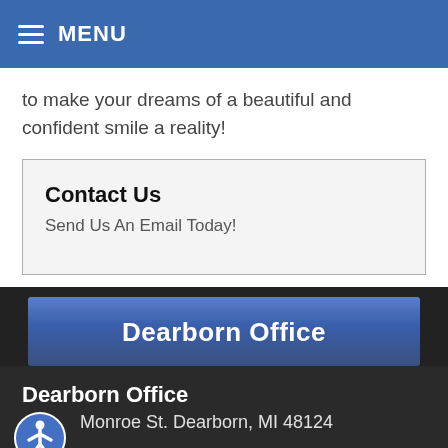MENU
to make your dreams of a beautiful and confident smile a reality!
Contact Us
Send Us An Email Today!
Dearborn Office
Dearborn Office
Monroe St. Dearborn, MI 48124
[Figure (map): Map strip showing street map of Dearborn area]